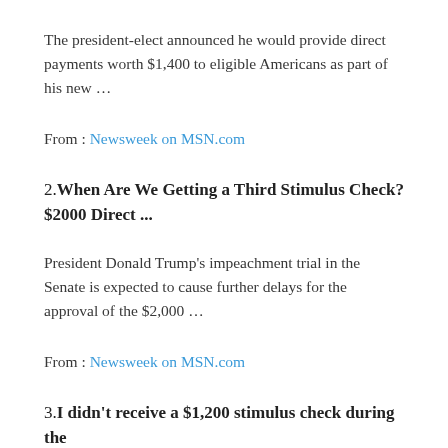The president-elect announced he would provide direct payments worth $1,400 to eligible Americans as part of his new …
From : Newsweek on MSN.com
2. When Are We Getting a Third Stimulus Check? $2000 Direct ...
President Donald Trump's impeachment trial in the Senate is expected to cause further delays for the approval of the $2,000 …
From : Newsweek on MSN.com
3. I didn't receive a $1,200 stimulus check during the